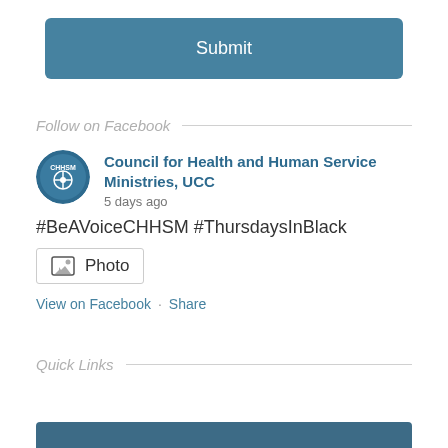Submit
Follow on Facebook
[Figure (logo): CHHSM circular logo with blue background]
Council for Health and Human Service Ministries, UCC
5 days ago
#BeAVoiceCHHSM #ThursdaysInBlack
Photo
View on Facebook · Share
Quick Links